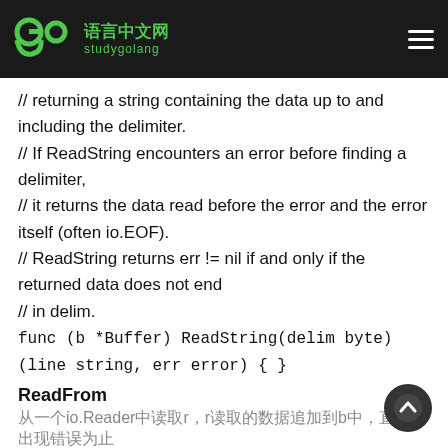Go 语言中文网 studygolang
// returning a string containing the data up to and including the delimiter.
// If ReadString encounters an error before finding a delimiter,
// it returns the data read before the error and the error itself (often io.EOF).
// ReadString returns err != nil if and only if the returned data does not end
// in delim.
func (b *Buffer) ReadString(delim byte) (line string, err error) { }
ReadFrom
从一个io.Reader中读取r，r读取的数据追加到b中，直到n出现错误为止
// ReadFrom reads data from r until EOF and appends it to the buffer, growing
// the buffer as needed. The return value n is the num of bytes read. Any